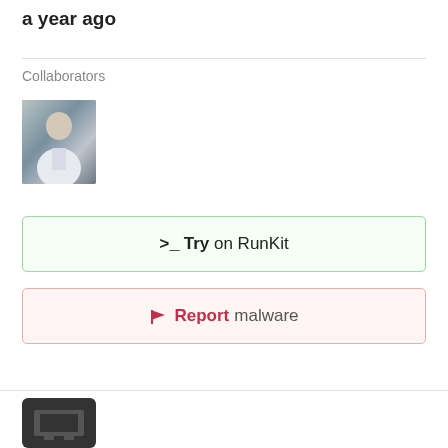a year ago
Collaborators
[Figure (photo): Avatar photo of a person (collaborator profile picture)]
>_Try on RunKit
🚩Report malware
[Figure (logo): Dark square logo icon at the bottom of the page]